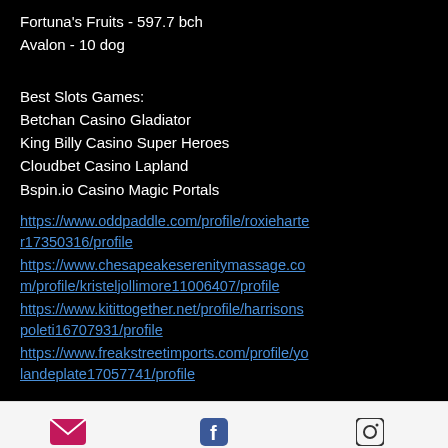Fortuna's Fruits - 597.7 bch
Avalon - 10 dog
Best Slots Games:
Betchan Casino Gladiator
King Billy Casino Super Heroes
Cloudbet Casino Lapland
Bspin.io Casino Magic Portals
https://www.oddpaddle.com/profile/roxieharter17350316/profile
https://www.chesapeakeserenitymassage.com/profile/kristeljollimore11006407/profile
https://www.kitittogether.net/profile/harrisonspoleti16707931/profile
https://www.freakstreetimports.com/profile/yolandeplate17057741/profile
Email  Facebook  Instagram